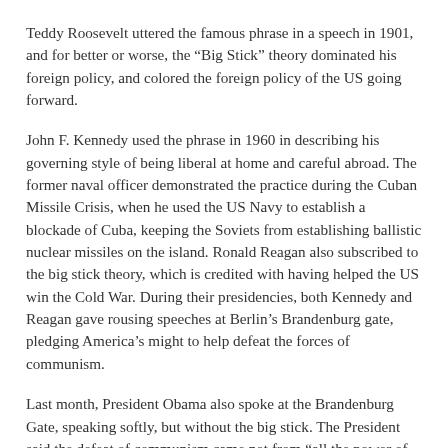Teddy Roosevelt uttered the famous phrase in a speech in 1901, and for better or worse, the “Big Stick” theory dominated his foreign policy, and colored the foreign policy of the US going forward.
John F. Kennedy used the phrase in 1960 in describing his governing style of being liberal at home and careful abroad. The former naval officer demonstrated the practice during the Cuban Missile Crisis, when he used the US Navy to establish a blockade of Cuba, keeping the Soviets from establishing ballistic nuclear missiles on the island. Ronald Reagan also subscribed to the big stick theory, which is credited with having helped the US win the Cold War. During their presidencies, both Kennedy and Reagan gave rousing speeches at Berlin’s Brandenburg gate, pledging America’s might to help defeat the forces of communism.
Last month, President Obama also spoke at the Brandenburg Gate, speaking softly, but without the big stick. The President said the defeat of communism came not from “all the power of militaries” but instead from “the yearning of justice,” which was “supported by an airlift of hope” and the values of “openness” and “tolerance.” The Berlin Wall came down, he said, because the German people